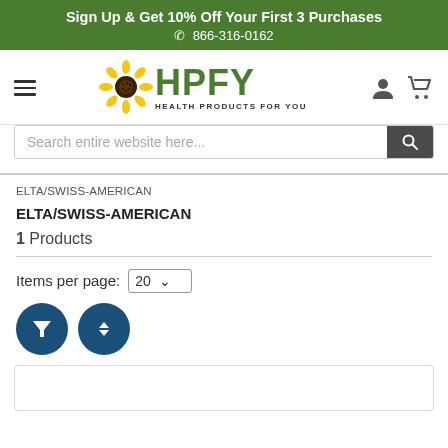Sign Up & Get 10% Off Your First 3 Purchases
☎ 866-316-0162
[Figure (logo): HPFY Health Products For You logo with sunflower icon]
Search entire website here...
ELTA/SWISS-AMERICAN
ELTA/SWISS-AMERICAN
1 Products
Items per page: 20